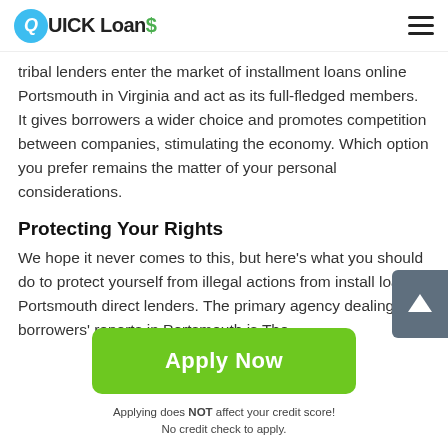QUICK Loans
tribal lenders enter the market of installment loans online Portsmouth in Virginia and act as its full-fledged members. It gives borrowers a wider choice and promotes competition between companies, stimulating the economy. Which option you prefer remains the matter of your personal considerations.
Protecting Your Rights
We hope it never comes to this, but here's what you should do to protect yourself from illegal actions from installment loans Portsmouth direct lenders. The primary agency dealing with borrowers' reports in Portsmouth is The
[Figure (other): Green 'Apply Now' button with light grey scroll-to-top arrow button overlay on the right side]
Applying does NOT affect your credit score!
No credit check to apply.